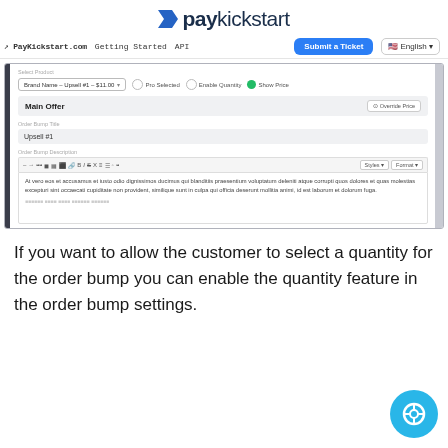paykickstart
PayKickstart.com   Getting Started   API   Submit a Ticket   English
[Figure (screenshot): PayKickstart admin interface showing order bump settings with Select Product dropdown, Pro Selected checkbox, Enable Quantity checkbox, Show Price toggle, Main Offer section with Override Price button, Order Bump Title field showing 'Upsell #1', and Order Bump Description rich text editor with lorem ipsum content.]
If you want to allow the customer to select a quantity for the order bump you can enable the quantity feature in the order bump settings.